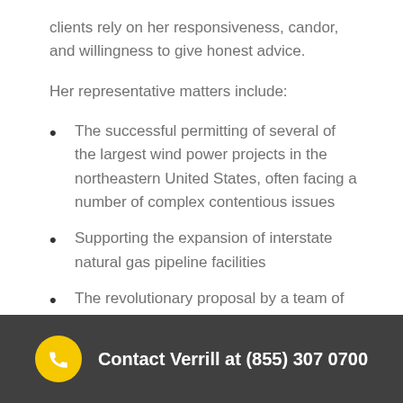clients rely on her responsiveness, candor, and willingness to give honest advice.
Her representative matters include:
The successful permitting of several of the largest wind power projects in the northeastern United States, often facing a number of complex contentious issues
Supporting the expansion of interstate natural gas pipeline facilities
The revolutionary proposal by a team of
Contact Verrill at (855) 307 0700